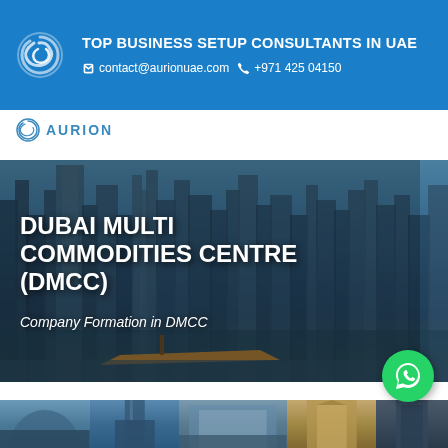TOP BUSINESS SETUP CONSULTANTS IN UAE | contact@aurionuae.com | +971 425 04150
[Figure (logo): Aurion company logo with swirl icon and text AURION in blue]
[Figure (photo): Dubai skyline with tall skyscrapers and marina waterfront]
DUBAI MULTI COMMODITIES CENTRE (DMCC)
Company Formation in DMCC
[Figure (photo): Bottom strip showing multiple Dubai building images]
[Figure (illustration): WhatsApp contact button (green circle with phone icon)]